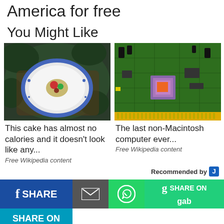America for free
You Might Like
[Figure (photo): Overhead view of a blue and white plate with a small colorful dessert on a wooden board surrounded by green herbs]
[Figure (photo): Close-up photo of a green circuit board (PCB) with electronic components including a pink/purple chip]
This cake has almost no calories and it doesn't look like any...
Free Wikipedia content
The last non-Macintosh computer ever...
Free Wikipedia content
Recommended by
f SHARE
SHARE ON gab
SHARE ON